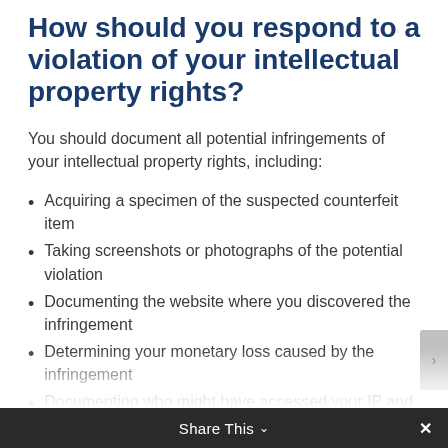How should you respond to a violation of your intellectual property rights?
You should document all potential infringements of your intellectual property rights, including:
Acquiring a specimen of the suspected counterfeit item
Taking screenshots or photographs of the potential violation
Documenting the website where you discovered the infringement
Determining your monetary loss caused by the infringement
Documenting who might have accessed your IP and how they might have done it
Writing down any claims someone might have